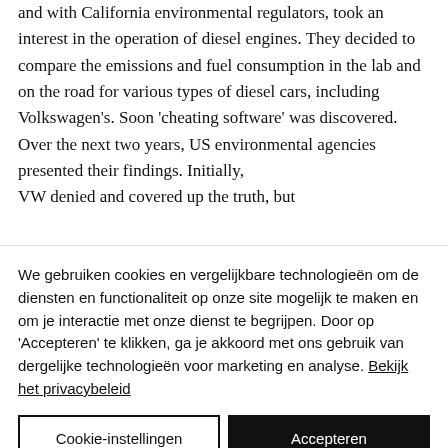and with California environmental regulators, took an interest in the operation of diesel engines. They decided to compare the emissions and fuel consumption in the lab and on the road for various types of diesel cars, including Volkswagen's. Soon 'cheating software' was discovered. Over the next two years, US environmental agencies presented their findings. Initially, VW denied and covered up the truth, but
We gebruiken cookies en vergelijkbare technologieën om de diensten en functionaliteit op onze site mogelijk te maken en om je interactie met onze dienst te begrijpen. Door op 'Accepteren' te klikken, ga je akkoord met ons gebruik van dergelijke technologieën voor marketing en analyse. Bekijk het privacybeleid
Cookie-instellingen
Accepteren